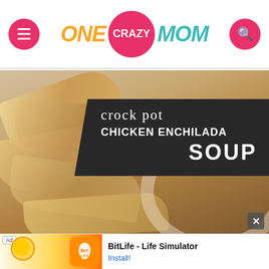[Figure (logo): One Crazy Mom website header with hamburger menu button on left, logo in center, and search button on right. Logo shows ONE in orange italic, CRAZY in white on pink circle, MOM in teal italic.]
[Figure (photo): Crock Pot Chicken Enchilada Soup food blog article image showing tortilla chips in a basket with a dark banner overlay reading 'crock pot CHICKEN ENCHILADA SOUP' in white text.]
[Figure (screenshot): Advertisement banner for BitLife - Life Simulator app showing app icon and Install button.]